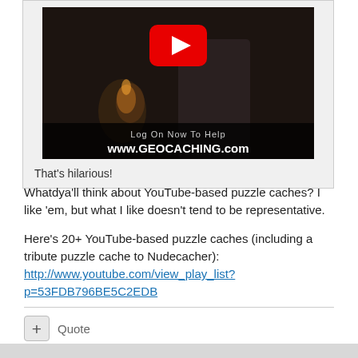[Figure (screenshot): YouTube video thumbnail showing a woman in a dark setting with candles, YouTube play button overlay, text reading 'Log On Now To Help www.GEOCACHING.com']
That's hilarious!
Whatdya'll think about YouTube-based puzzle caches? I like 'em, but what I like doesn't tend to be representative.
Here's 20+ YouTube-based puzzle caches (including a tribute puzzle cache to Nudecacher): http://www.youtube.com/view_play_list?p=53FDB796BE5C2EDB